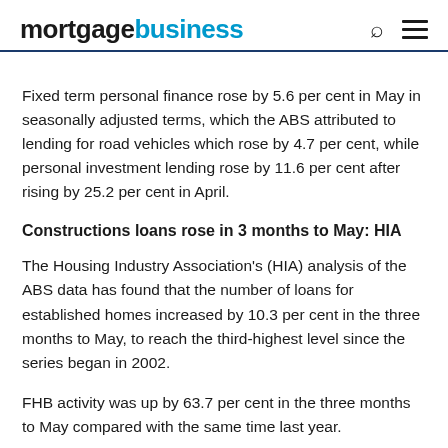mortgagebusiness
Fixed term personal finance rose by 5.6 per cent in May in seasonally adjusted terms, which the ABS attributed to lending for road vehicles which rose by 4.7 per cent, while personal investment lending rose by 11.6 per cent after rising by 25.2 per cent in April.
Constructions loans rose in 3 months to May: HIA
The Housing Industry Association's (HIA) analysis of the ABS data has found that the number of loans for established homes increased by 10.3 per cent in the three months to May, to reach the third-highest level since the series began in 2002.
FHB activity was up by 63.7 per cent in the three months to May compared with the same time last year.
While noting that the number of loans for the construction of a new dwelling continued to fall in May,